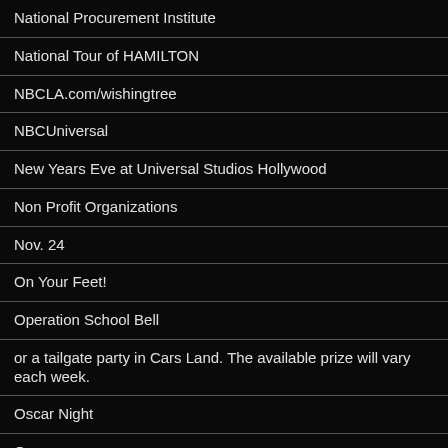National Procurement Institute
National Tour of HAMILTON
NBCLA.com/wishingtree
NBCUniversal
New Years Eve at Universal Studios Hollywood
Non Profit Organizations
Nov. 24
On Your Feet!
Operation School Bell
or a tailgate party in Cars Land. The available prize will vary each week.
Oscar Night
Oscars